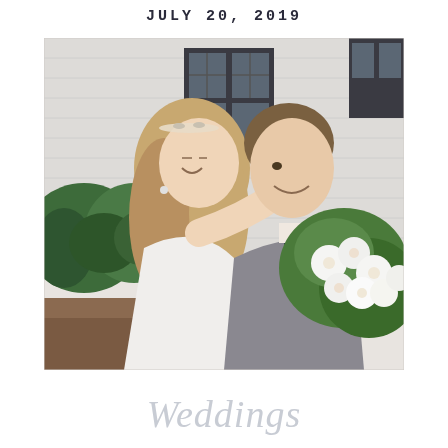JULY 20, 2019
[Figure (photo): A bride and groom in an intimate moment outdoors. The bride has long blonde hair with a floral headpiece and wears a white sleeveless gown, holding a large white and green bouquet. The groom in a grey suit nuzzles the bride's cheek while smiling. Green shrubs and a white house with dark shutters are visible in the background.]
Weddings